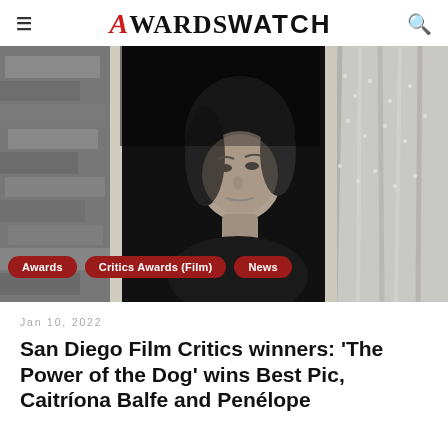AWARDSWATCH
[Figure (photo): Black and white photo of a woman peering through a window with curtains and stone wall visible]
Jan 10, 2022
San Diego Film Critics winners: 'The Power of the Dog' wins Best Pic, Caitríona Balfe and Penélope